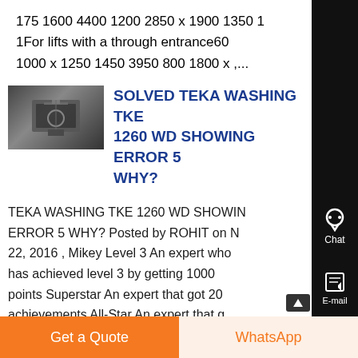175 1600 4400 1200 2850 x 1900 1350 1
1For lifts with a through entrance60
1000 x 1250 1450 3950 800 1800 x ,...
[Figure (photo): Thumbnail image of what appears to be a basketball hoop or mechanical equipment in a dark setting]
SOLVED TEKA WASHING TKE 1260 WD SHOWING ERROR 5 WHY?
TEKA WASHING TKE 1260 WD SHOWING ERROR 5 WHY? Posted by ROHIT on N 22, 2016 , Mikey Level 3 An expert who has achieved level 3 by getting 1000 points Superstar An expert that got 20 achievements All-Star An expert that g